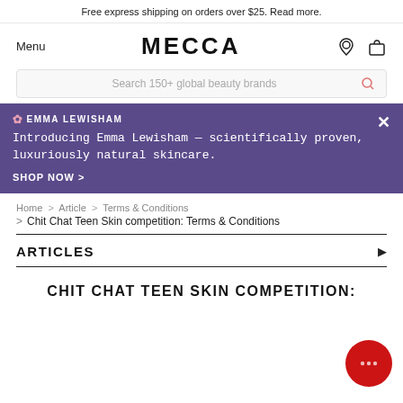Free express shipping on orders over $25. Read more.
Menu
MECCA
Search 150+ global beauty brands
✿ EMMA LEWISHAM
Introducing Emma Lewisham — scientifically proven, luxuriously natural skincare.
SHOP NOW >
Home > Article > Terms & Conditions > Chit Chat Teen Skin competition: Terms & Conditions
ARTICLES
CHIT CHAT TEEN SKIN COMPETITION: